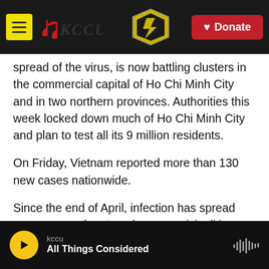KCCU — Donate
spread of the virus, is now battling clusters in the commercial capital of Ho Chi Minh City and in two northern provinces. Authorities this week locked down much of Ho Chi Minh City and plan to test all its 9 million residents.
On Friday, Vietnam reported more than 130 new cases nationwide.
Since the end of April, infection has spread across more than two dozen municipalities and provinces, leading to over 5,000 confirmed cases — double the total number that the country reported from the
kccu — All Things Considered